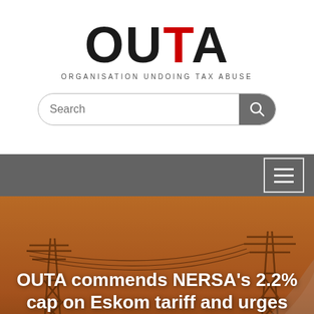[Figure (logo): OUTA logo — large bold letters with TA in red, subtitle 'ORGANISATION UNDOING TAX ABUSE']
[Figure (other): Search bar with magnifying glass icon]
[Figure (other): Dark grey navigation bar with hamburger menu icon (three horizontal lines) on the right]
[Figure (photo): Photo of electricity pylons/power transmission towers against an orange-brown sunset sky, with a curved road element in the foreground]
OUTA commends NERSA's 2.2% cap on Eskom tariff and urges more action
OUTA commends NERSA for rejecting